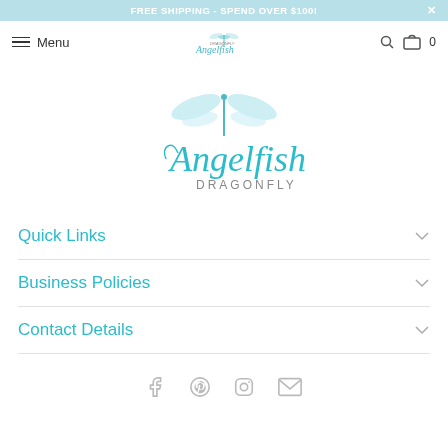FREE SHIPPING - SPEND OVER $100!
Menu
[Figure (logo): Angelfish Dragonfly logo with teal dragonfly illustration and stylized text]
Quick Links
Business Policies
Contact Details
[Figure (other): Social media icons: Facebook, Pinterest, Instagram, Email]